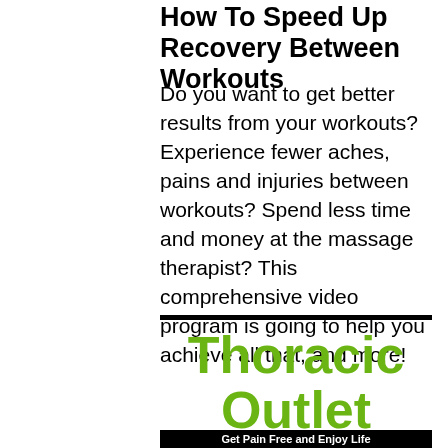How To Speed Up Recovery Between Workouts
Do you want to get better results from your workouts? Experience fewer aches, pains and injuries between workouts? Spend less time and money at the massage therapist? This comprehensive video program is going to help you achieve all that, and more!
[Figure (logo): Thoracic Outlet Syndrome Solved logo in bold green text with a black bar at bottom reading partial text]